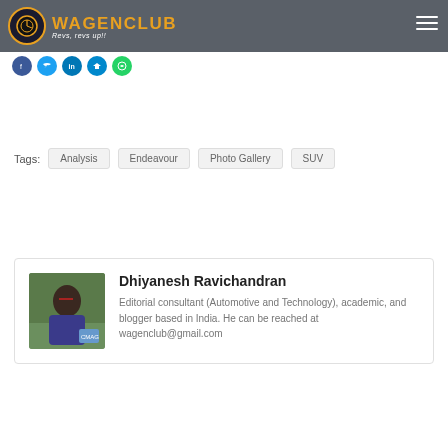WAGENCLUB - Revs, revs up!!
Tags: Analysis  Endeavour  Photo Gallery  SUV
Dhiyanesh Ravichandran
Editorial consultant (Automotive and Technology), academic, and blogger based in India. He can be reached at wagenclub@gmail.com